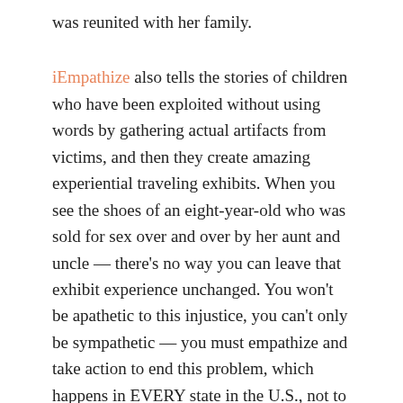was reunited with her family.
iEmpathize also tells the stories of children who have been exploited without using words by gathering actual artifacts from victims, and then they create amazing experiential traveling exhibits. When you see the shoes of an eight-year-old who was sold for sex over and over by her aunt and uncle — there's no way you can leave that exhibit experience unchanged. You won't be apathetic to this injustice, you can't only be sympathetic — you must empathize and take action to end this problem, which happens in EVERY state in the U.S., not to mention, all over the world.
We produced the video below, which illustrates iEmpathize's methodology and how the general public can use their home space, work or school space and social